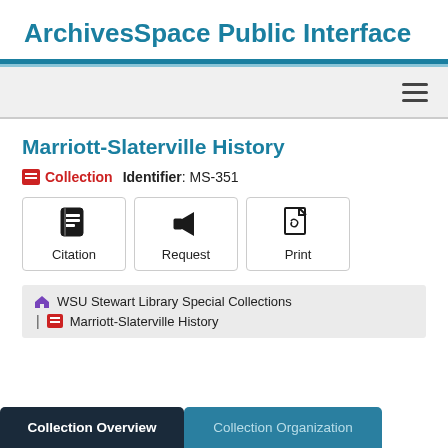ArchivesSpace Public Interface
Marriott-Slaterville History
Collection   Identifier: MS-351
Citation   Request   Print
WSU Stewart Library Special Collections | Marriott-Slaterville History
Collection Overview   Collection Organization